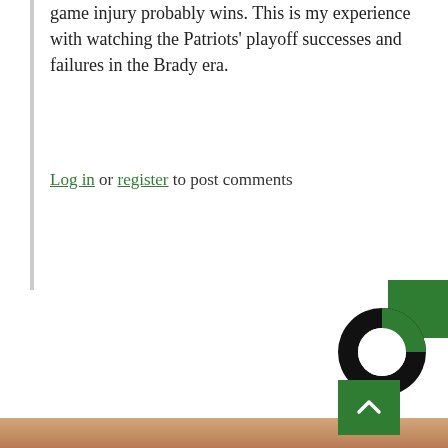game injury probably wins. This is my experience with watching the Patriots' playoff successes and failures in the Brady era.
Log in or register to post comments
Around The Web
[Figure (logo): Donut/ring chart logo with black ring and green square accent in upper right]
[Figure (photo): Close-up photograph of aged human hand skin, showing wrinkles and veins]